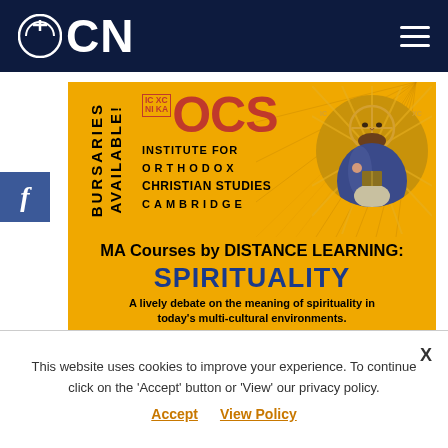OCN
[Figure (illustration): IOCS Institute for Orthodox Christian Studies Cambridge advertisement banner with gold background, showing IOCS letters in red, Orthodox Christ icon mosaic, and MA Courses by Distance Learning details for Spirituality and Contemporary Faith & Belief]
This website uses cookies to improve your experience. To continue click on the 'Accept' button or 'View' our privacy policy.
Accept   View Policy